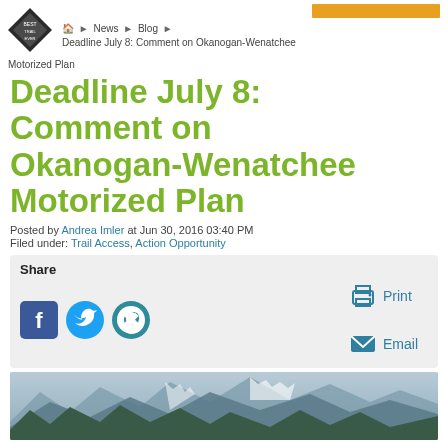🏠 > News > Blog > Deadline July 8: Comment on Okanogan-Wenatchee Motorized Plan
Deadline July 8: Comment on Okanogan-Wenatchee Motorized Plan
Posted by Andrea Imler at Jun 30, 2016 03:40 PM
Filed under: Trail Access, Action Opportunity
Share — Facebook, Twitter, Pinterest, Print, Email
[Figure (photo): Mountain landscape with forested ridgeline and snow-capped peaks in the background, blue-grey tones]